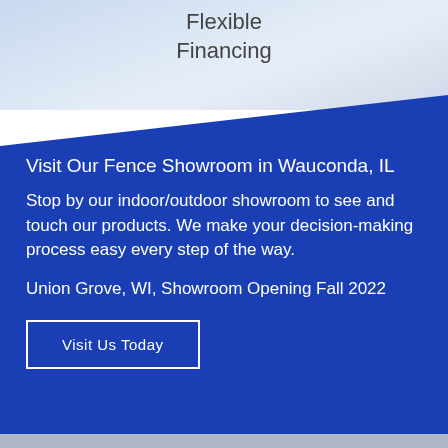Flexible Financing
Visit Our Fence Showroom in Wauconda, IL
Stop by our indoor/outdoor showroom to see and touch our products. We make your decision-making process easy every step of the way.
Union Grove, WI, Showroom Opening Fall 2022
Visit Us Today